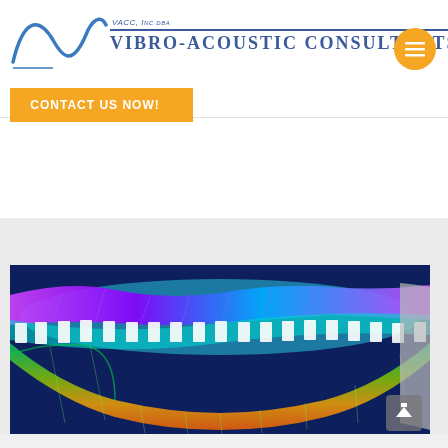VACC, Inc. dba Vibro-Acoustic Consultants
[Figure (logo): Vibro-Acoustic Consultants logo with blue sine wave and company name]
CONTACT US NOW!
[Figure (engineering-diagram): 3D finite element analysis visualization showing vibrational mode shapes of a structural panel with colorful displacement contours (purple, cyan, green, yellow, orange) on a dark blue background, with white grid lines and structural supports]